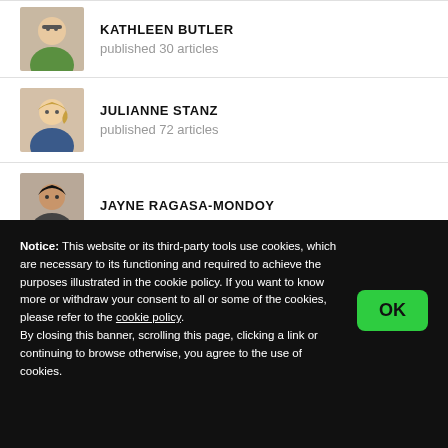[Figure (photo): Headshot of Kathleen Butler, woman with glasses and green top]
KATHLEEN BUTLER
published 30 articles
[Figure (photo): Headshot of Julianne Stanz, woman with blonde hair and blue top]
JULIANNE STANZ
published 72 articles
[Figure (photo): Headshot of Jayne Ragasa-Mondoy, woman with dark hair]
JAYNE RAGASA-MONDOY
Notice: This website or its third-party tools use cookies, which are necessary to its functioning and required to achieve the purposes illustrated in the cookie policy. If you want to know more or withdraw your consent to all or some of the cookies, please refer to the cookie policy.
By closing this banner, scrolling this page, clicking a link or continuing to browse otherwise, you agree to the use of cookies.